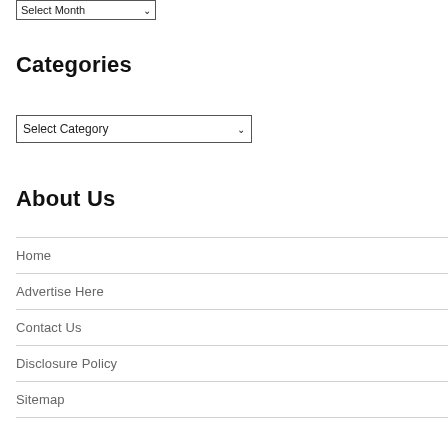[Figure (other): Select Month dropdown UI element]
Categories
[Figure (other): Select Category dropdown UI element]
About Us
Home
Advertise Here
Contact Us
Disclosure Policy
Sitemap